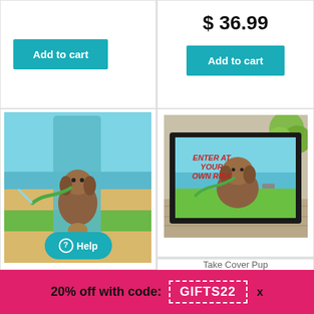[Figure (other): Add to cart button for product in top-left cell]
[Figure (other): Price $36.99 and Add to cart button for product in top-right cell]
[Figure (photo): Beach towel product with dog holding garden hose on a beach scene, with teal Help button overlay]
[Figure (photo): Take Cover Pup doormat with dog holding hose, black rubber frame, 'Enter at your own risk' text in red]
Take Cover Pup
20% off with code: GIFTS22